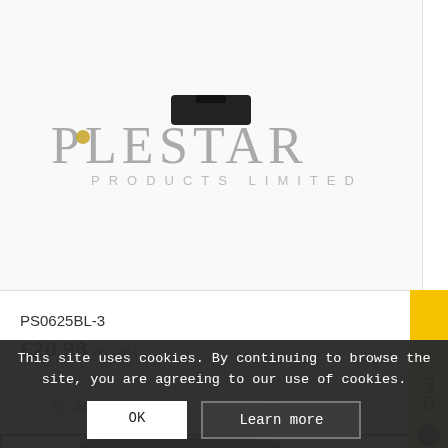[Figure (logo): Pole Star Products Limited company logo with star motif]
PS0625BL-3
£20.98 ex VAT
Add to basket
Show Details
[Figure (screenshot): Yellow chat widget on right side]
[Figure (photo): Second product card with blue border, partially visible product image]
This site uses cookies. By continuing to browse the site, you are agreeing to our use of cookies.
OK
Learn more